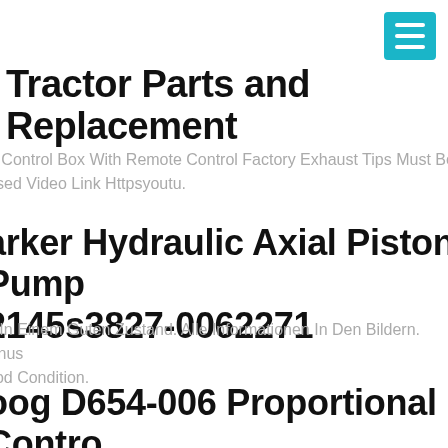[Figure (other): Teal/cyan hamburger menu button in top right corner]
Tractor Parts and Replacement
e Control Box With Remote Control Factory Exhaust Tips Must Be ssed Video Link Httpsyoutu.
arker Hydraulic Axial Piston Pump 2145s3827-0062271
d In Einem Guten Zustand. Alle Informationen In Den Bildern. Unus ood Condition.
oog D654-006 Proportional Contro alve – Moog D061-603c
Valve Oil Flow 3 Lm. Manufacturer Moog. Pilot Connections X And Y ufacturer Moog. Hydraulic Connection Sub Plate. Model D061-603c